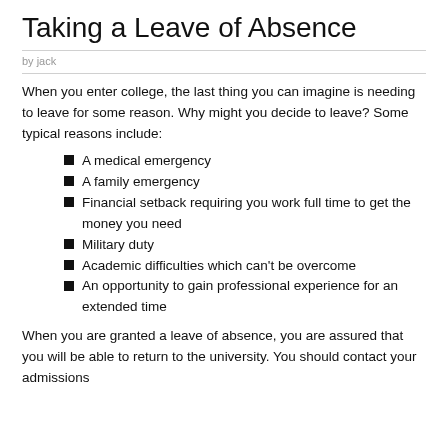Taking a Leave of Absence
by jack
When you enter college, the last thing you can imagine is needing to leave for some reason. Why might you decide to leave? Some typical reasons include:
A medical emergency
A family emergency
Financial setback requiring you work full time to get the money you need
Military duty
Academic difficulties which can't be overcome
An opportunity to gain professional experience for an extended time
When you are granted a leave of absence, you are assured that you will be able to return to the university. You should contact your admissions